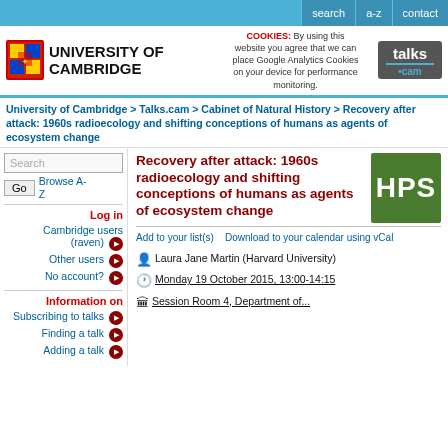search | a-z | contact
[Figure (logo): University of Cambridge coat of arms and name logo with talks.cam logo and cookie notice]
University of Cambridge > Talks.cam > Cabinet of Natural History > Recovery after attack: 1960s radioecology and shifting conceptions of humans as agents of ecosystem change
Search Go Browse A-Z
Log in
Cambridge users (raven) →
Other users →
No account? →
Information on
Subscribing to talks →
Finding a talk →
Adding a talk →
Recovery after attack: 1960s radioecology and shifting conceptions of humans as agents of ecosystem change
[Figure (logo): HPS green square logo with white letters HPS]
Add to your list(s)    Download to your calendar using vCal
Laura Jane Martin (Harvard University)
Monday 19 October 2015, 13:00-14:15
Session Room 4, Department of...